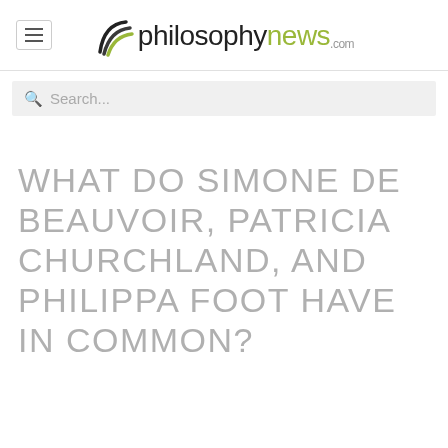philosophynews.com
Search...
WHAT DO SIMONE DE BEAUVOIR, PATRICIA CHURCHLAND, AND PHILIPPA FOOT HAVE IN COMMON?